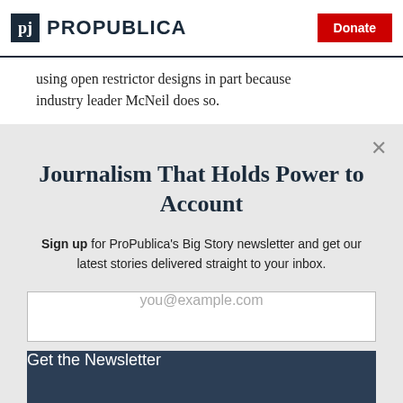ProPublica | Donate
using open restrictor designs in part because industry leader McNeil does so.
Journalism That Holds Power to Account
Sign up for ProPublica's Big Story newsletter and get our latest stories delivered straight to your inbox.
you@example.com
Get the Newsletter
No thanks, I'm all set
This site is protected by reCAPTCHA and the Google Privacy Policy and Terms of Service apply.